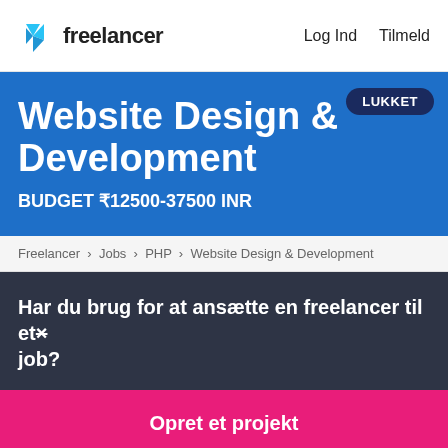freelancer   Log Ind   Tilmeld
Website Design & Development
BUDGET ₹12500-37500 INR
Freelancer › Jobs › PHP › Website Design & Development
Har du brug for at ansætte en freelancer til et job?
Opret et projekt